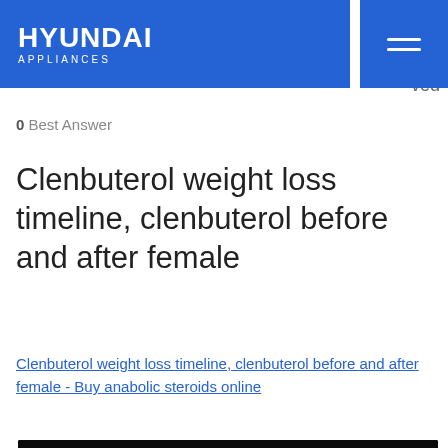HYUNDAI APPLIANCES
0 Best Answer
Clenbuterol weight loss timeline, clenbuterol before and after female
Clenbuterol weight loss timeline, clenbuterol before and after female - Buy anabolic steroids online
[Figure (photo): Dark blurred image, likely showing a person or body-related photo]